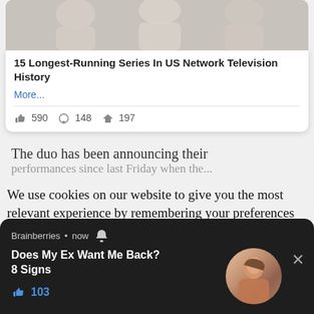[Figure (photo): Partial photo of people sitting, cropped at top of card]
15 Longest-Running Series In US Network Television History
More...
590   148   197
The duo has been announcing their
performances since last Friday when they...
We use cookies on our website to give you the most relevant experience by remembering your preferences and repeat visits. By clicking “Accept All”... Ho... pr...
[Figure (screenshot): Push notification popup from Brainberries: 'Does My Ex Want Me Back? 8 Signs' with 103 likes and a circular photo of a woman]